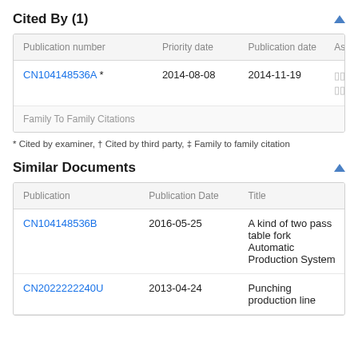Cited By (1)
| Publication number | Priority date | Publication date | Ass |
| --- | --- | --- | --- |
| CN104148536A * | 2014-08-08 | 2014-11-19 |  |
| Family To Family Citations |  |  |  |
* Cited by examiner, † Cited by third party, ‡ Family to family citation
Similar Documents
| Publication | Publication Date | Title |
| --- | --- | --- |
| CN104148536B | 2016-05-25 | A kind of two pass table fork Automatic Production System |
| CN2022222240U | 2013-04-24 | Punching production line |